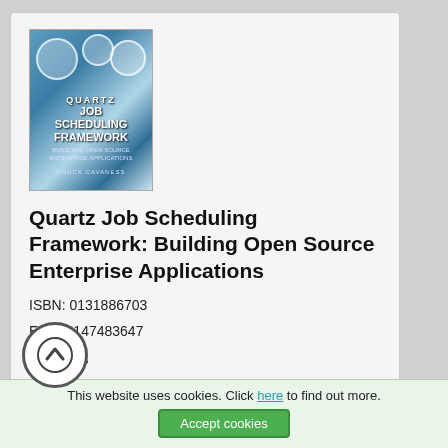[Figure (illustration): Book cover for Quartz Job Scheduling Framework with clocks imagery and author name Chuck Cavaness]
Quartz Job Scheduling Framework: Building Open Source Enterprise Applications
ISBN: 0131886703
EAN: 2147483647
Year: N/A
Pages: 148
Authors: Chuck Cavaness
BUY ON AMAZON
This website uses cookies. Click here to find out more.
Accept cookies